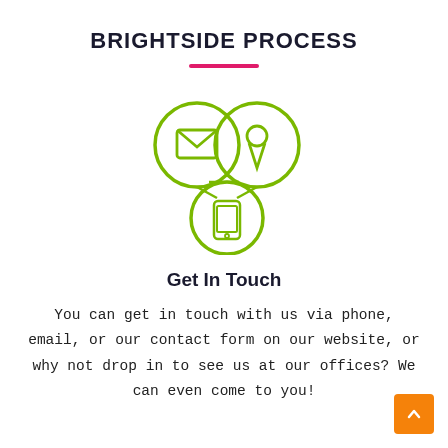BRIGHTSIDE PROCESS
[Figure (illustration): Three circular green line-art icons arranged in a triangular cluster: top-left shows an envelope (email), top-right shows a map pin/location marker, bottom-center shows a smartphone.]
Get In Touch
You can get in touch with us via phone, email, or our contact form on our website, or why not drop in to see us at our offices? We can even come to you!